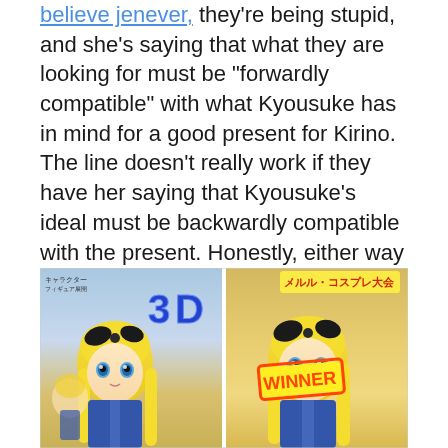believe jenever, they re being stupid, and she's saying that what they are looking for must be "forwardly compatible" with what Kyousuke has in mind for a good present for Kirino. The line doesn't really work if they have her saying that Kyousuke's ideal must be backwardly compatible with the present. Honestly, either way the line does look pretty retarded upon first glance, but since Kuroneko is not only an Eighth Grader, she's also a computer geek, so the line actually fits her.
[Figure (illustration): Anime illustration showing a blonde anime girl character in a blue outfit, appearing twice side by side. Left panel shows the character with '3D' text overlay. Right panel shows the character with Japanese text and a 'WINNER' badge/stamp.]